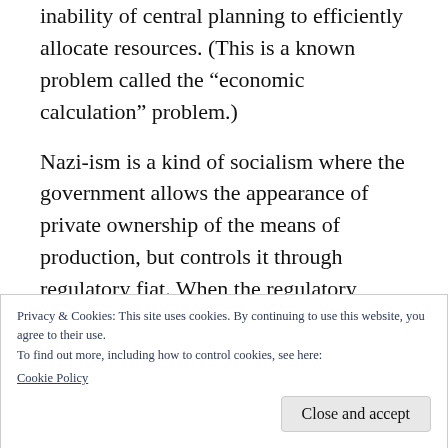inability of central planning to efficiently allocate resources. (This is a known problem called the “economic calculation” problem.)
Nazi-ism is a kind of socialism where the government allows the appearance of private ownership of the means of production, but controls it through regulatory fiat. When the regulatory process is “captured” (one way or another) by the owners of the industries being regulated, this is called corporatism. The
Privacy & Cookies: This site uses cookies. By continuing to use this website, you agree to their use.
To find out more, including how to control cookies, see here:
Cookie Policy
Close and accept